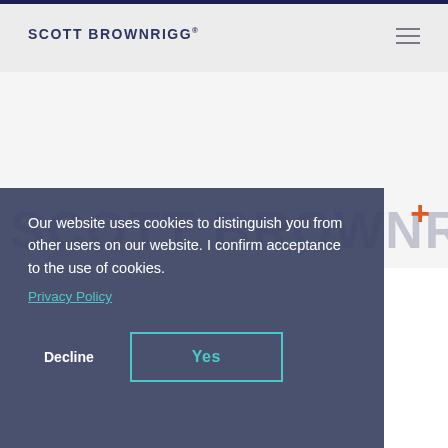SCOTT BROWNRIGG®
SCOTT BROWNRIGG
Our website uses cookies to distinguish you from other users on our website. I confirm acceptance to the use of cookies.
Privacy Policy
Decline
Yes